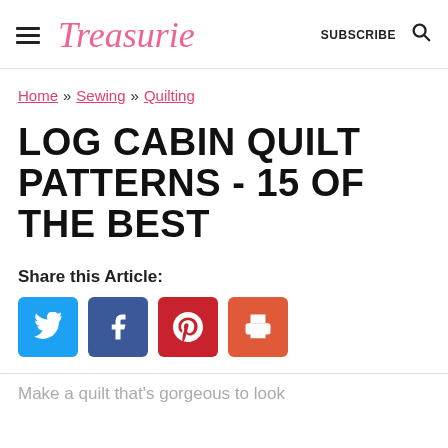Treasurie | SUBSCRIBE
Home » Sewing » Quilting
LOG CABIN QUILT PATTERNS - 15 OF THE BEST
Share this Article:
[Figure (infographic): Four social share buttons: Twitter (blue), Facebook (dark blue), Pinterest (red), Print (orange-red)]
Make a quilt that's gorgeous to look